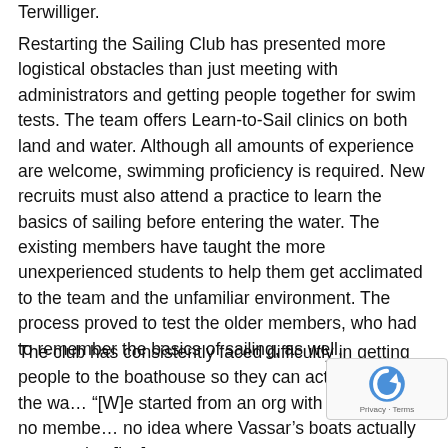Terwilliger.
Restarting the Sailing Club has presented more logistical obstacles than just meeting with administrators and getting people together for swim tests. The team offers Learn-to-Sail clinics on both land and water. Although all amounts of experience are welcome, swimming proficiency is required. New recruits must also attend a practice to learn the basics of sailing before entering the water. The existing members have taught the more unexperienced students to help them get acclimated to the team and the unfamiliar environment. The process proved to test the older members, who had to remember the basics of sailing, as well.
The club has consistently faced difficultly in getting people to the boathouse so they can actually get on the wa... "[W]e started from an org with no money, no membe... no idea where Vassar's boats actually were, to hav[ing]